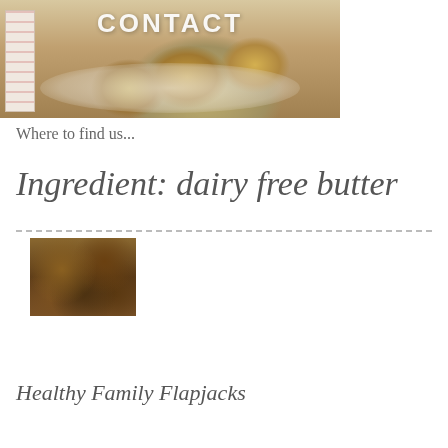[Figure (photo): Photo of sugar-dusted madeleine cookies on a plate with a floral ribbon/bookmark on the left side, with the word CONTACT overlaid in white text]
Where to find us...
Ingredient: dairy free butter
[Figure (photo): Photo of healthy family flapjack bars stacked, showing oat and dried fruit texture]
Healthy Family Flapjacks